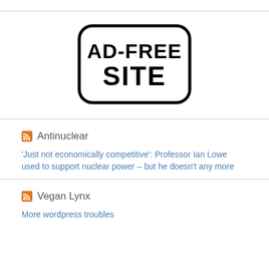[Figure (illustration): Hand-drawn stamp-style badge with rounded rectangle border reading 'AD-FREE SITE' in bold block letters]
Antinuclear
'Just not economically competitive': Professor Ian Lowe used to support nuclear power – but he doesn't any more
Vegan Lynx
More wordpress troubles